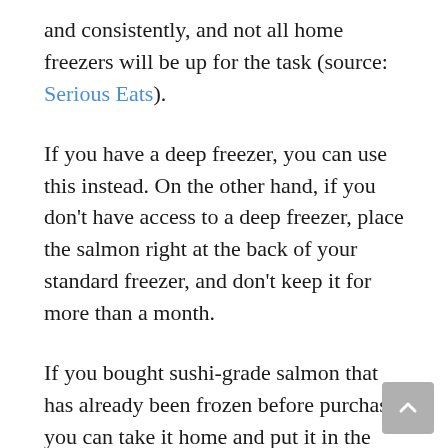and consistently, and not all home freezers will be up for the task (source: Serious Eats).
If you have a deep freezer, you can use this instead. On the other hand, if you don't have access to a deep freezer, place the salmon right at the back of your standard freezer, and don't keep it for more than a month.
If you bought sushi-grade salmon that has already been frozen before purchase, you can take it home and put it in the freezer.